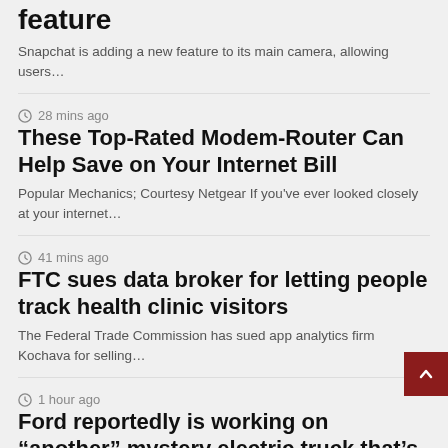feature
Snapchat is adding a new feature to its main camera, allowing users…
28 mins ago
These Top-Rated Modem-Router Can Help Save on Your Internet Bill
Popular Mechanics; Courtesy Netgear If you've ever looked closely at your internet…
41 mins ago
FTC sues data broker for letting people track health clinic visitors
The Federal Trade Commission has sued app analytics firm Kochava for selling…
1 hour ago
Ford reportedly is working on “another” mystery electric truck that’s not an F-150 Lightning